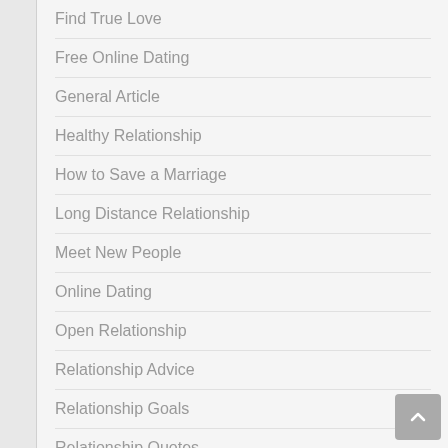Find True Love
Free Online Dating
General Article
Healthy Relationship
How to Save a Marriage
Long Distance Relationship
Meet New People
Online Dating
Open Relationship
Relationship Advice
Relationship Goals
Relationship Quotes